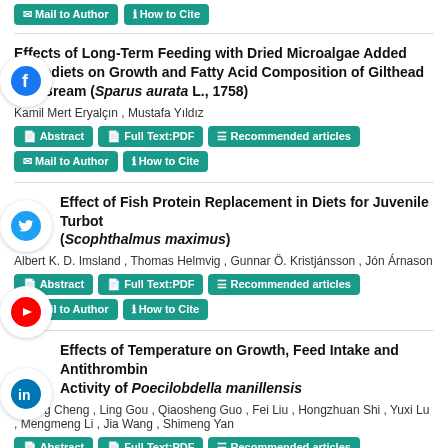Effects of Long-Term Feeding with Dried Microalgae Added Microdiets on Growth and Fatty Acid Composition of Gilthead Sea Bream (Sparus aurata L., 1758)
Kamil Mert Eryalçın , Mustafa Yıldız
Abstract | Full Text:PDF | Recommended articles | Mail to Author | How to Cite
Effect of Fish Protein Replacement in Diets for Juvenile Turbot (Scophthalmus maximus)
Albert K. D. Imsland , Thomas Helmvig , Gunnar Ö. Kristjánsson , Jón Árnason
Abstract | Full Text:PDF | Recommended articles | Mail to Author | How to Cite
Effects of Temperature on Growth, Feed Intake and Antithrombin Activity of Poecilobdella manillensis
Boxing Cheng , Ling Gou , Qiaosheng Guo , Fei Liu , Hongzhuan Shi , Yuxi Lu , Mengmeng Li , Jia Wang , Shimeng Yan
Abstract | Full Text:PDF | Recommended articles